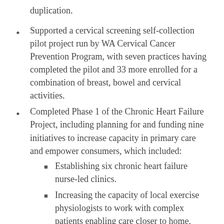duplication.
Supported a cervical screening self-collection pilot project run by WA Cervical Cancer Prevention Program, with seven practices having completed the pilot and 33 more enrolled for a combination of breast, bowel and cervical activities.
Completed Phase 1 of the Chronic Heart Failure Project, including planning for and funding nine initiatives to increase capacity in primary care and empower consumers, which included:
Establishing six chronic heart failure nurse-led clinics.
Increasing the capacity of local exercise physiologists to work with complex patients enabling care closer to home, reducing dependency on hospital services and up skilling workforce.
Trialling a telehealth cardiac rehabilitation program to improve health outcomes for country...